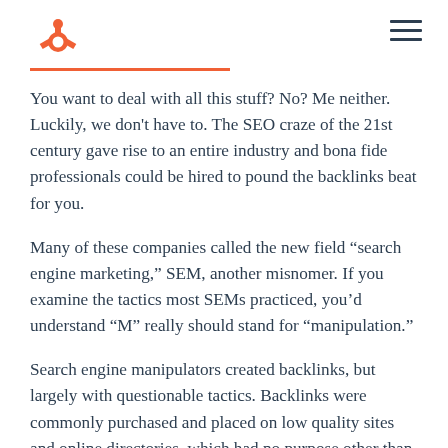HubSpot logo and navigation
You want to deal with all this stuff? No? Me neither. Luckily, we don't have to. The SEO craze of the 21st century gave rise to an entire industry and bona fide professionals could be hired to pound the backlinks beat for you.
Many of these companies called the new field “search engine marketing,” SEM, another misnomer. If you examine the tactics most SEMs practiced, you’d understand “M” really should stand for “manipulation.”
Search engine manipulators created backlinks, but largely with questionable tactics. Backlinks were commonly purchased and placed on low quality sites and online directories, which had no purpose other than